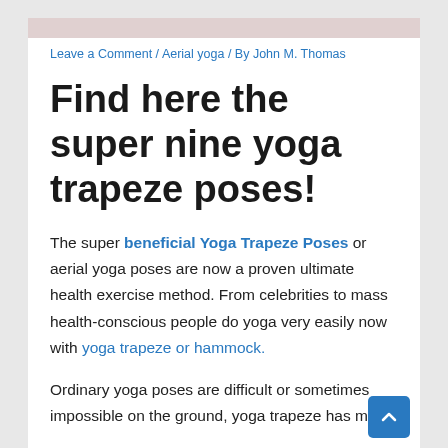Leave a Comment / Aerial yoga / By John M. Thomas
Find here the super nine yoga trapeze poses!
The super beneficial Yoga Trapeze Poses or aerial yoga poses are now a proven ultimate health exercise method. From celebrities to mass health-conscious people do yoga very easily now with yoga trapeze or hammock.
Ordinary yoga poses are difficult or sometimes impossible on the ground, yoga trapeze has made